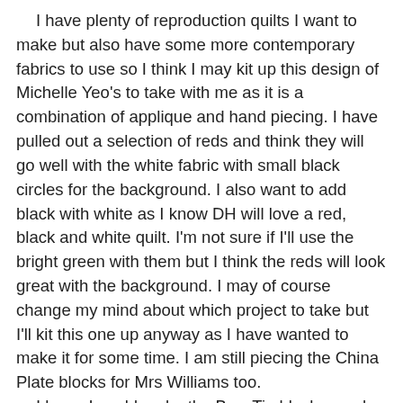I have plenty of reproduction quilts I want to make but also have some more contemporary fabrics to use so I think I may kit up this design of Michelle Yeo's to take with me as it is a combination of applique and hand piecing. I have pulled out a selection of reds and think they will go well with the white fabric with small black circles for the background. I also want to add black with white as I know DH will love a red, black and white quilt. I'm not sure if I'll use the bright green with them but I think the reds will look great with the background. I may of course change my mind about which project to take but I'll kit this one up anyway as I have wanted to make it for some time. I am still piecing the China Plate blocks for Mrs Williams too.
  I know I could make the Bow Tie blocks much more quickly on the machine but I have really fallen in love with hand piecing as I spend so much time at the sewing machine that it is more relaxing to have some hand stitching to do as well, and if there is no rush for the project then I can enjoy the process. The baby quilts will most likely to be for any future grandchildren, or I can make them larger if needed.
  I'm back on night shift again tonight so I hope you are all getting some time for stitching while I am sleeping. I'm also